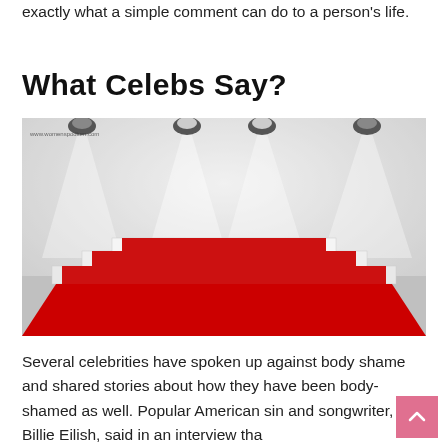exactly what a simple comment can do to a person's life.
What Celebs Say?
[Figure (photo): A stage or podium with white steps and a red carpet/stairway leading up to it, illuminated by stage spotlights from above, with a watermark reading www.womenspodium.com]
Several celebrities have spoken up against body shame and shared stories about how they have been body-shamed as well. Popular American sin and songwriter, Billie Eilish, said in an interview tha